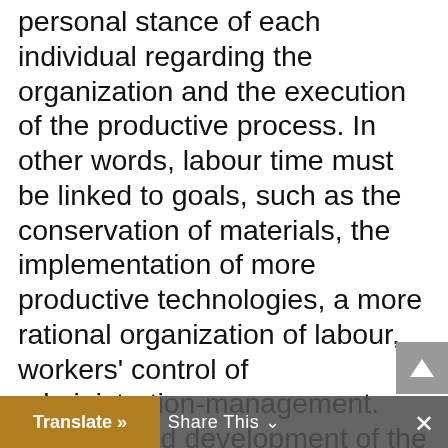personal stance of each individual regarding the organization and the execution of the productive process. In other words, labour time must be linked to goals, such as the conservation of materials, the implementation of more productive technologies, a more rational organization of labour, workers' control of administration-management. The planned development of the productive forces in the communist mode of production should increasingly free up more time from work, which should then be used to raise the educational-cultural level of working people; to allow for worker … in the carrying out of their